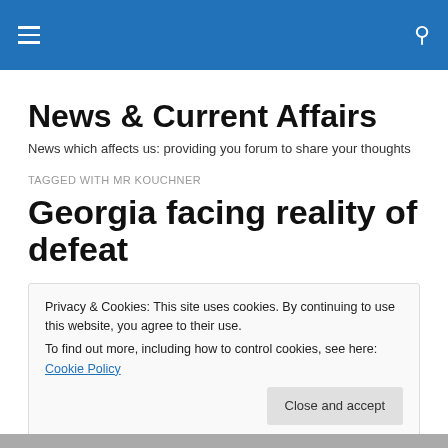News & Current Affairs [site header with hamburger menu and search icon]
News & Current Affairs
News which affects us: providing you forum to share your thoughts
TAGGED WITH MR KOUCHNER
Georgia facing reality of defeat
Privacy & Cookies: This site uses cookies. By continuing to use this website, you agree to their use.
To find out more, including how to control cookies, see here: Cookie Policy
Close and accept